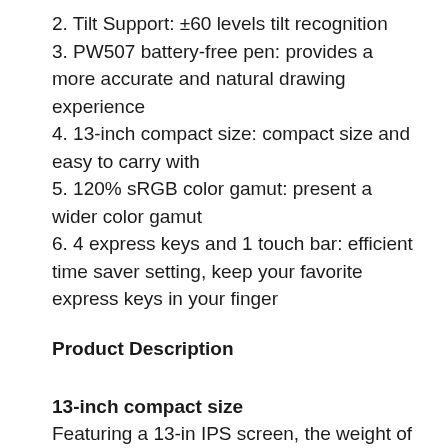2. Tilt Support: ±60 levels tilt recognition
3. PW507 battery-free pen: provides a more accurate and natural drawing experience
4. 13-inch compact size: compact size and easy to carry with
5. 120% sRGB color gamut: present a wider color gamut
6. 4 express keys and 1 touch bar: efficient time saver setting, keep your favorite express keys in your finger
Product Description
13-inch compact size
Featuring a 13-in IPS screen, the weight of Kamvas Pro 13 is about